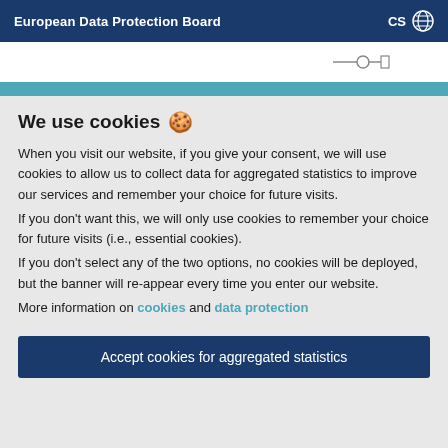European Data Protection Board  CS 🌐
We use cookies 🍪
When you visit our website, if you give your consent, we will use cookies to allow us to collect data for aggregated statistics to improve our services and remember your choice for future visits.
If you don't want this, we will only use cookies to remember your choice for future visits (i.e., essential cookies).
If you don't select any of the two options, no cookies will be deployed, but the banner will re-appear every time you enter our website.
More information on cookies and data protection
Accept cookies for aggregated statistics